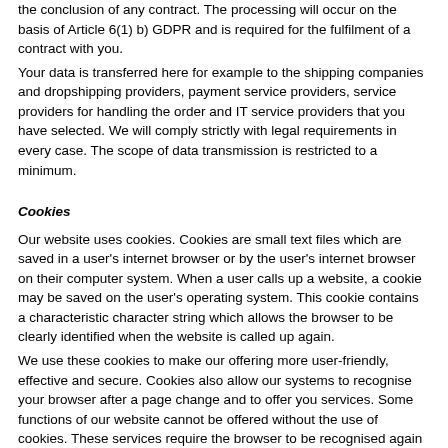the conclusion of any contract. The processing will occur on the basis of Article 6(1) b) GDPR and is required for the fulfilment of a contract with you.
Your data is transferred here for example to the shipping companies and dropshipping providers, payment service providers, service providers for handling the order and IT service providers that you have selected. We will comply strictly with legal requirements in every case. The scope of data transmission is restricted to a minimum.
Cookies
Our website uses cookies. Cookies are small text files which are saved in a user's internet browser or by the user's internet browser on their computer system. When a user calls up a website, a cookie may be saved on the user's operating system. This cookie contains a characteristic character string which allows the browser to be clearly identified when the website is called up again.
We use these cookies to make our offering more user-friendly, effective and secure. Cookies also allow our systems to recognise your browser after a page change and to offer you services. Some functions of our website cannot be offered without the use of cookies. These services require the browser to be recognised again after a page change.